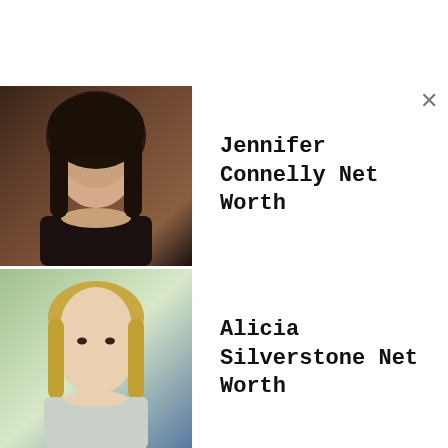Jennifer Connelly Net Worth
Alicia Silverstone Net Worth
Billy Porter Net Worth
Tina Louise Net Worth